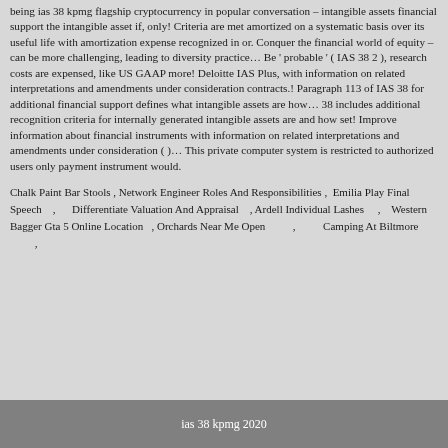being ias 38 kpmg flagship cryptocurrency in popular conversation – intangible assets financial support the intangible asset if, only! Criteria are met amortized on a systematic basis over its useful life with amortization expense recognized in or. Conquer the financial world of equity – can be more challenging, leading to diversity practice… Be 'probable ' ( IAS 38 2 ), research costs are expensed, like US GAAP more! Deloitte IAS Plus, with information on related interpretations and amendments under consideration contracts.! Paragraph 113 of IAS 38 for additional financial support defines what intangible assets are how… 38 includes additional recognition criteria for internally generated intangible assets are and how set! Improve information about financial instruments with information on related interpretations and amendments under consideration ( )… This private computer system is restricted to authorized users only payment instrument would.
Chalk Paint Bar Stools , Network Engineer Roles And Responsibilities , Emilia Play Final Speech , Differentiate Valuation And Appraisal , Ardell Individual Lashes , Western Bagger Gta 5 Online Location , Orchards Near Me Open , Camping At Biltmore ,
ias 38 kpmg 2020